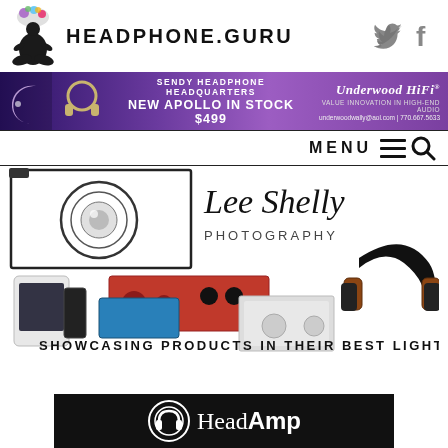[Figure (logo): Headphone.Guru website header with logo (meditating figure with colorful brain) and site name HEADPHONE.GURU, plus Twitter and Facebook social icons]
[Figure (infographic): Purple/violet advertisement banner for Sendy Headphone Headquarters: NEW APOLLO IN STOCK $499, Underwood HiFi, underwoodwally@aol.com | 770.667.5633]
[Figure (infographic): MENU bar with hamburger icon and search magnifying glass icon]
[Figure (photo): Lee Shelly Photography advertisement showing audio equipment including headphones, DAC/amp units, and portable players. Text: SHOWCASING PRODUCTS IN THEIR BEST LIGHT]
[Figure (logo): HeadAmp logo at bottom - white circular icon with headphone graphic and HeadAmp text on black background]